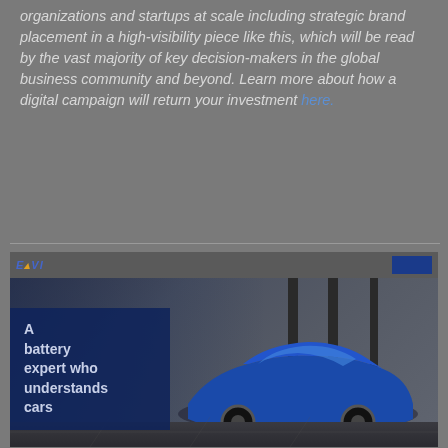organizations and startups at scale including strategic brand placement in a high-visibility piece like this, which will be read by the vast majority of key decision-makers in the global business community and beyond. Learn more about how a digital campaign will return your investment here.
[Figure (screenshot): A screenshot of a webpage or advertisement featuring a blue electric car near charging stations with overlaid text reading 'A battery expert who understands cars'. The page has a dark blue logo/brand mark at top left and a dark blue navigation button at top right.]
Could Forum Exchange